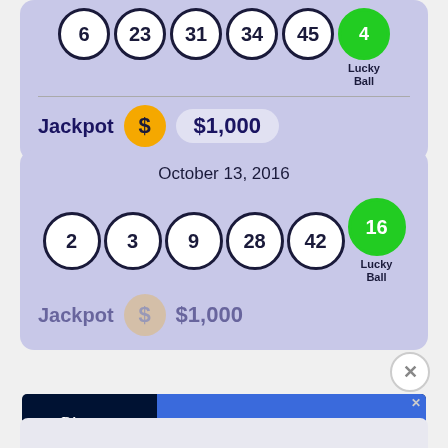[Figure (infographic): Lottery card (top, partially visible) showing balls: 6, 23, 31, 34, 45, Lucky Ball 4, and Jackpot $1,000]
[Figure (infographic): Lottery card for October 13, 2016 showing balls: 2, 3, 9, 28, 42, Lucky Ball 16, and Jackpot $1,000 (partially cut off)]
[Figure (infographic): Advertisement banner for The Disney Bundle (Hulu, Disney+, ESPN+) - GET THE DISNEY BUNDLE. Incl. Hulu (ad-supported) or Hulu (No Ads). Access content from each service separately. ©2021 Disney and its related entities]